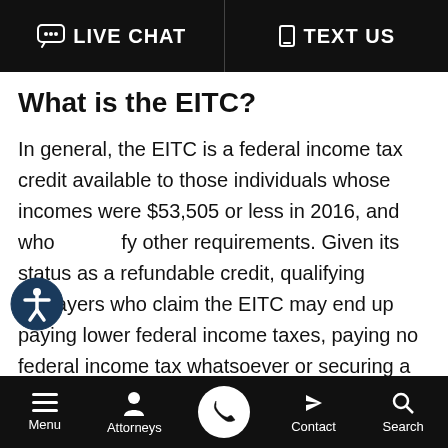LIVE CHAT   TEXT US
What is the EITC?
In general, the EITC is a federal income tax credit available to those individuals whose incomes were $53,505 or less in 2016, and who satisfy other requirements. Given its status as a refundable credit, qualifying taxpayers who claim the EITC may end up paying lower federal income taxes, paying no federal income tax whatsoever or securing a generous refund.
Menu   Attorneys   [call button]   Contact   Search